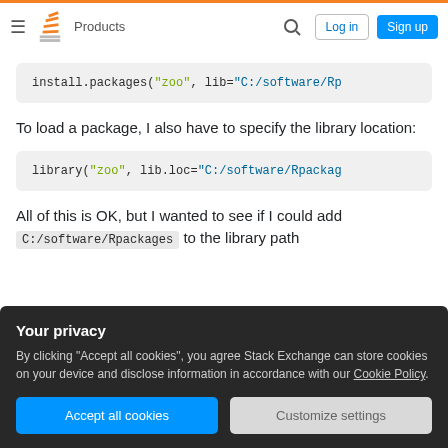Stack Overflow navigation bar with hamburger menu, logo, Products, search, Log in, Sign up
To load a package, I also have to specify the library location:
All of this is OK, but I wanted to see if I could add C:/software/Rpackages to the library path
Your privacy
By clicking "Accept all cookies", you agree Stack Exchange can store cookies on your device and disclose information in accordance with our Cookie Policy.
Accept all cookies | Customize settings